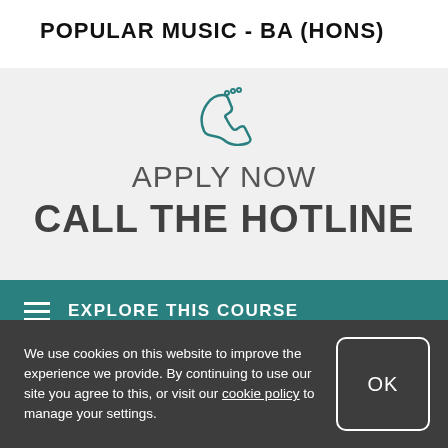POPULAR MUSIC - BA (HONS)
[Figure (illustration): Teal phone handset icon]
APPLY NOW
CALL THE HOTLINE
EXPLORE THIS COURSE
See hotline opening hours.
We use cookies on this website to improve the experience we provide. By continuing to use our site you agree to this, or visit our cookie policy to manage your settings.